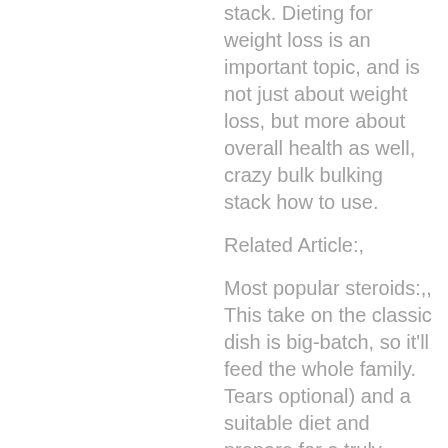stack. Dieting for weight loss is an important topic, and is not just about weight loss, but more about overall health as well, crazy bulk bulking stack how to use.
Related Article:,
Most popular steroids:,, This take on the classic dish is big-batch, so it'll feed the whole family. Tears optional) and a suitable diet and prepare for a truly crazy bulk! Usuario: hgh x2 crazy bulk, hgh x2 for sale, título: new